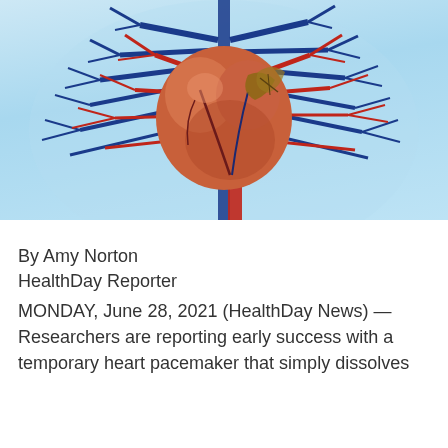[Figure (illustration): Medical illustration of a human heart with red arteries and blue veins against a light blue transparent torso background, showing branching vasculature on both sides.]
By Amy Norton
HealthDay Reporter
MONDAY, June 28, 2021 (HealthDay News) — Researchers are reporting early success with a temporary heart pacemaker that simply dissolves